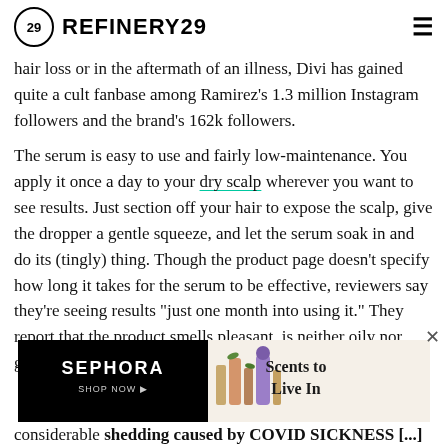REFINERY29
hair loss or in the aftermath of an illness, Divi has gained quite a cult fanbase among Ramirez's 1.3 million Instagram followers and the brand's 162k followers.
The serum is easy to use and fairly low-maintenance. You apply it once a day to your dry scalp wherever you want to see results. Just section off your hair to expose the scalp, give the dropper a gentle squeeze, and let the serum soak in and do its (tingly) thing. Though the product page doesn't specify how long it takes for the serum to be effective, reviewers say they're seeing results "just one month into using it." They report that the product smells pleasant, is neither oily nor goopy, and doesn't require a rinse afterw
[Figure (screenshot): Sephora advertisement banner: black left panel with SEPHORA SHOP NOW text, right panel showing product bottles and 'Scents to Live In' tagline]
considerable shedding caused by COVID SICKNESS [...] My